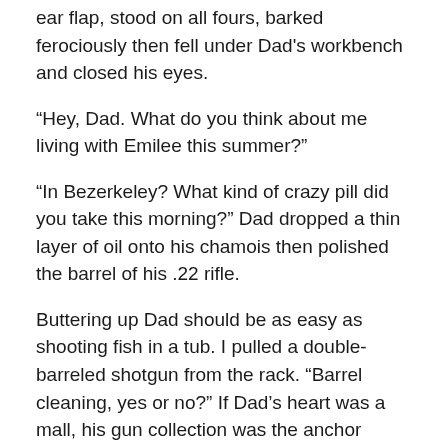ear flap, stood on all fours, barked ferociously then fell under Dad's workbench and closed his eyes.
“Hey, Dad. What do you think about me living with Emilee this summer?”
“In Bezerkeley? What kind of crazy pill did you take this morning?” Dad dropped a thin layer of oil onto his chamois then polished the barrel of his .22 rifle.
Buttering up Dad should be as easy as shooting fish in a tub. I pulled a double-barreled shotgun from the rack. “Barrel cleaning, yes or no?” If Dad’s heart was a mall, his gun collection was the anchor store.
Dad grabbed the shotgun out of my arms. “Only idiots think cleaning messes up the trajectory.” He removed the bolt, took down a nylon brush from the shelf and stuck it